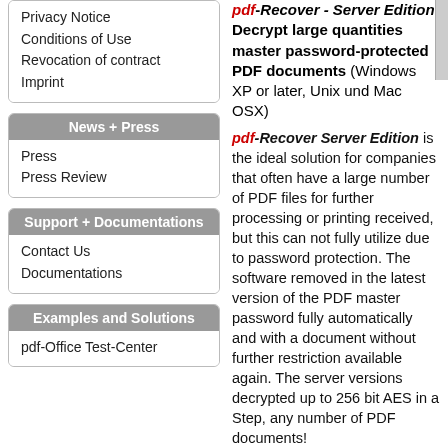Privacy Notice
Conditions of Use
Revocation of contract
Imprint
News + Press
Press
Press Review
Support + Documentations
Contact Us
Documentations
Examples and Solutions
pdf-Office Test-Center
pdf-Recover - Server Edition: Decrypt large quantities master password-protected PDF documents (Windows XP or later, Unix und Mac OSX)
pdf-Recover Server Edition is the ideal solution for companies that often have a large number of PDF files for further processing or printing received, but this can not fully utilize due to password protection. The software removed in the latest version of the PDF master password fully automatically and with a document without further restriction available again. The server versions decrypted up to 256 bit AES in a Step, any number of PDF documents!
PDF documents are almost protected with a password